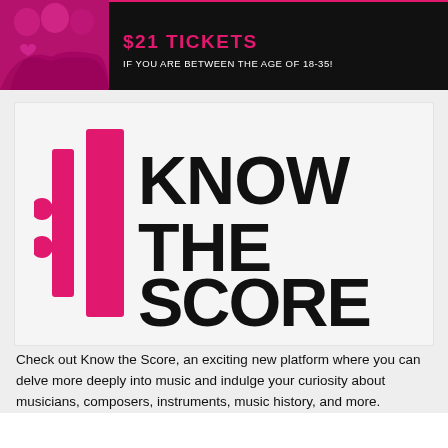[Figure (photo): Banner with dark background, pink photo of women on left side, pink horizontal line at top, pink ticket price text and age eligibility text]
$21 TICKETS
IF YOU ARE BETWEEN THE AGE OF 18-35!
[Figure (logo): Know the Score logo: two pink vertical bars with two pink dots on the left, and the text KNOW THE SCORE in large black bold letters on the right]
Check out Know the Score, an exciting new platform where you can delve more deeply into music and indulge your curiosity about musicians, composers, instruments, music history, and more.